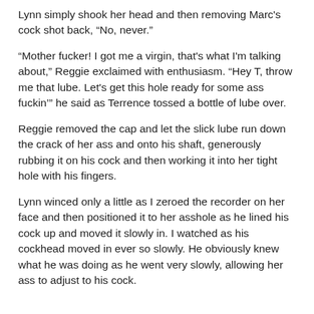Lynn simply shook her head and then removing Marc's cock shot back, “No, never.”
“Mother fucker! I got me a virgin, that's what I'm talking about,” Reggie exclaimed with enthusiasm. “Hey T, throw me that lube. Let's get this hole ready for some ass fuckin’” he said as Terrence tossed a bottle of lube over.
Reggie removed the cap and let the slick lube run down the crack of her ass and onto his shaft, generously rubbing it on his cock and then working it into her tight hole with his fingers.
Lynn winced only a little as I zeroed the recorder on her face and then positioned it to her asshole as he lined his cock up and moved it slowly in. I watched as his cockhead moved in ever so slowly. He obviously knew what he was doing as he went very slowly, allowing her ass to adjust to his cock.